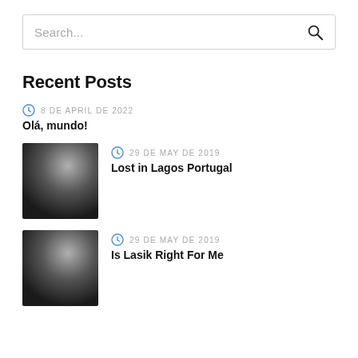[Figure (screenshot): Search input bar with placeholder text 'Search...' and a magnifying glass icon on the right]
Recent Posts
8 DE APRIL DE 2022
Olá, mundo!
[Figure (photo): Small blurred/dark square thumbnail image for 'Lost in Lagos Portugal' post]
29 DE MAY DE 2019
Lost in Lagos Portugal
[Figure (photo): Small blurred/dark square thumbnail image for 'Is Lasik Right For Me' post]
29 DE MAY DE 2019
Is Lasik Right For Me